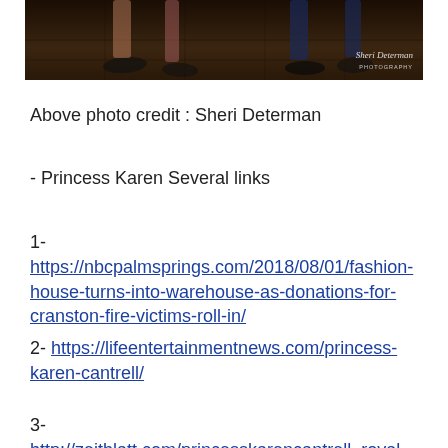[Figure (photo): Bottom portion of a photo showing people seated, with feet and shoes visible on a tiled floor. Watermark 'Sheri Determan PHOTOGRAPHY' in bottom right corner.]
Above photo credit : Sheri Determan
- Princess Karen Several links
1- https://nbcpalmsprings.com/2018/08/01/fashion-house-turns-into-warehouse-as-donations-for-cranston-fire-victims-roll-in/
2- https://lifeentertainmentnews.com/princess-karen-cantrell/
3-http://zeitblatt.com/princesskarencantrell_royal-